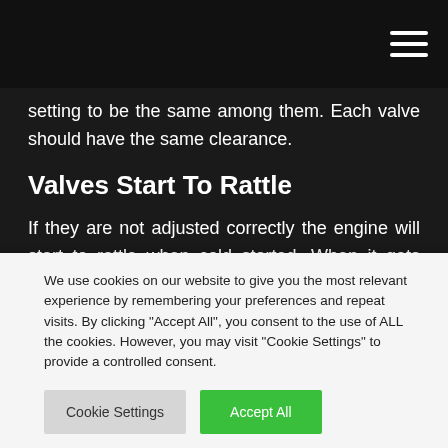setting to be the same among them. Each valve should have the same clearance.
Valves Start To Rattle
If they are not adjusted correctly the engine will start to rattle when cold started. When it gets warmer the problem will go away and will be easier to ignore. But you shouldn't ignore this
We use cookies on our website to give you the most relevant experience by remembering your preferences and repeat visits. By clicking "Accept All", you consent to the use of ALL the cookies. However, you may visit "Cookie Settings" to provide a controlled consent.